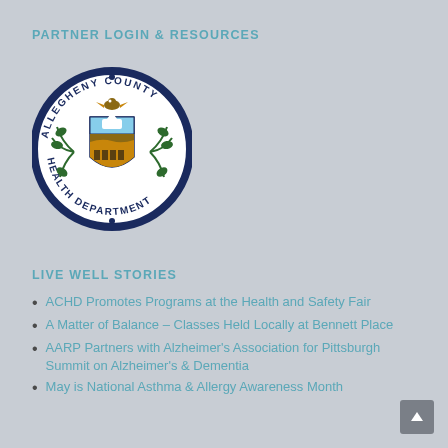PARTNER LOGIN & RESOURCES
[Figure (logo): Allegheny County Health Department circular seal/logo with eagle, shield, and laurel branches]
LIVE WELL STORIES
ACHD Promotes Programs at the Health and Safety Fair
A Matter of Balance – Classes Held Locally at Bennett Place
AARP Partners with Alzheimer's Association for Pittsburgh Summit on Alzheimer's & Dementia
May is National Asthma & Allergy Awareness Month